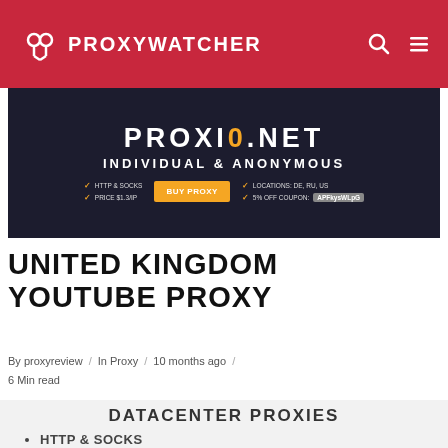PROXYWATCHER
[Figure (infographic): Proxy10.net advertisement banner — dark background with text PROXI0.NET, INDIVIDUAL & ANONYMOUS, HTTP & SOCKS, PRICE $1.3/IP, BUY PROXY button, LOCATIONS: DE, RU, US, 5% OFF COUPON: APFkysWLpG]
UNITED KINGDOM YOUTUBE PROXY
By proxyreview / In Proxy / 10 months ago / 6 Min read
DATACENTER PROXIES
HTTP & SOCKS